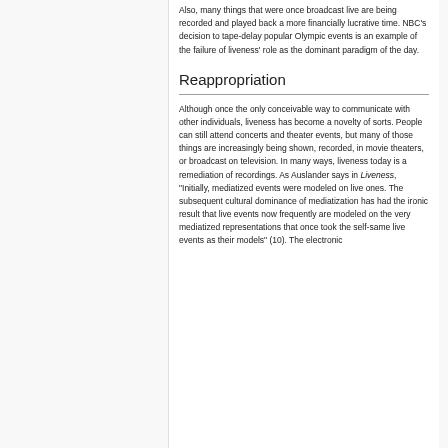Also, many things that were once broadcast live are being recorded and played back a more financially lucrative time. NBC's decision to tape-delay popular Olympic events is an example of the failure of liveness' role as the dominant paradigm of the day.
Reappropriation
Although once the only conceivable way to communicate with other individuals, liveness has become a novelty of sorts. People can still attend concerts and theater events, but many of those things are increasingly being shown, recorded, in movie theaters, or broadcast on television. In many ways, liveness today is a remediation of recordings. As Auslander says in Liveness, "Initially, mediatized events were modeled on live ones. The subsequent cultural dominance of mediatization has had the ironic result that live events now frequently are modeled on the very mediatized representations that once took the self-same live events as their models" (10). The electronic